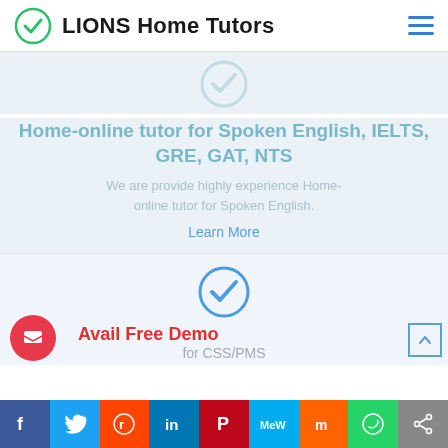LIONS Home Tutors
Home-online tutor for Spoken English, IELTS, GRE, GAT, NTS
We are provide highly experience Home-online tutor for Spoken English.
Learn More
Avail Free Demo
[Figure (other): Blue circular checkmark icon]
[Figure (screenshot): Social sharing bar at bottom with Facebook, Twitter, Reddit, LinkedIn, Pinterest, MeWe, Mix, WhatsApp, Share buttons]